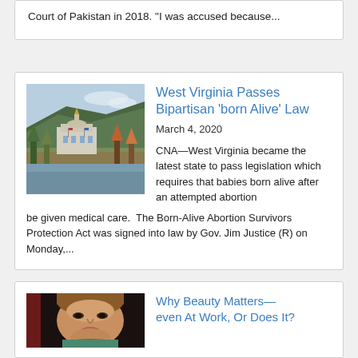Court of Pakistan in 2018. “I was accused because...
West Virginia Passes Bipartisan 'born Alive' Law
March 4, 2020
[Figure (photo): Photograph of the West Virginia State Capitol building with autumn trees and a river in the foreground]
CNA—West Virginia became the latest state to pass legislation which requires that babies born alive after an attempted abortion be given medical care.  The Born-Alive Abortion Survivors Protection Act was signed into law by Gov. Jim Justice (R) on Monday,...
Why Beauty Matters—even At Work, Or Does It?
[Figure (photo): Close-up portrait painting or illustration of a person's face, appearing classical or Renaissance in style]